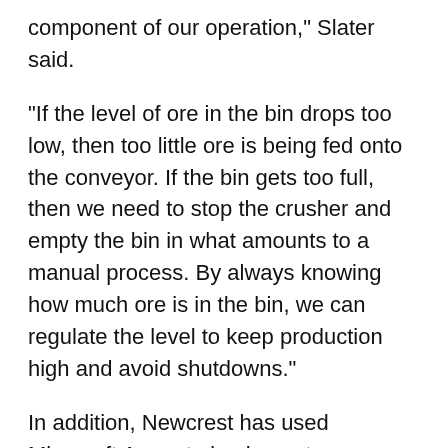component of our operation," Slater said.
"If the level of ore in the bin drops too low, then too little ore is being fed onto the conveyor. If the bin gets too full, then we need to stop the crusher and empty the bin in what amounts to a manual process. By always knowing how much ore is in the bin, we can regulate the level to keep production high and avoid shutdowns."
In addition, Newcrest has used Microsoft Azure to implement an open data platform that ingests data from 100,000 machinery sensors, and approximately 40 billion records, from across its international mine sites in Australia, Indonesia, Papua New Guinea, and Canada.